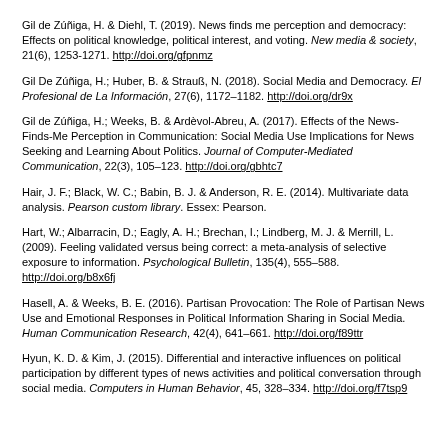Gil de Zúñiga, H. & Diehl, T. (2019). News finds me perception and democracy: Effects on political knowledge, political interest, and voting. New media & society, 21(6), 1253-1271. http://doi.org/gfpnmz
Gil De Zúñiga, H.; Huber, B. & Strauß, N. (2018). Social Media and Democracy. El Profesional de La Información, 27(6), 1172–1182. http://doi.org/dr9x
Gil de Zúñiga, H.; Weeks, B. & Ardèvol-Abreu, A. (2017). Effects of the News-Finds-Me Perception in Communication: Social Media Use Implications for News Seeking and Learning About Politics. Journal of Computer-Mediated Communication, 22(3), 105–123. http://doi.org/gbhtc7
Hair, J. F.; Black, W. C.; Babin, B. J. & Anderson, R. E. (2014). Multivariate data analysis. Pearson custom library. Essex: Pearson.
Hart, W.; Albarracin, D.; Eagly, A. H.; Brechan, I.; Lindberg, M. J. & Merrill, L. (2009). Feeling validated versus being correct: a meta-analysis of selective exposure to information. Psychological Bulletin, 135(4), 555–588. http://doi.org/b8x6fj
Hasell, A. & Weeks, B. E. (2016). Partisan Provocation: The Role of Partisan News Use and Emotional Responses in Political Information Sharing in Social Media. Human Communication Research, 42(4), 641–661. http://doi.org/f89ttr
Hyun, K. D. & Kim, J. (2015). Differential and interactive influences on political participation by different types of news activities and political conversation through social media. Computers in Human Behavior, 45, 328–334. http://doi.org/f7tsp9